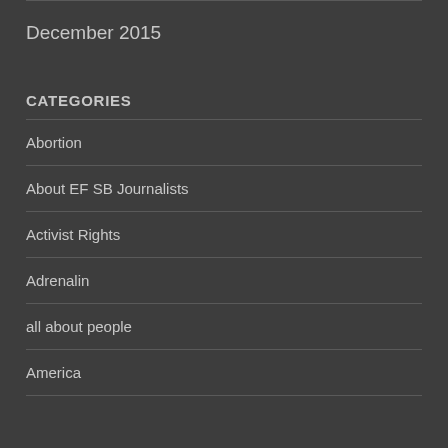December 2015
CATEGORIES
Abortion
About EF SB Journalists
Activist Rights
Adrenalin
all about people
America